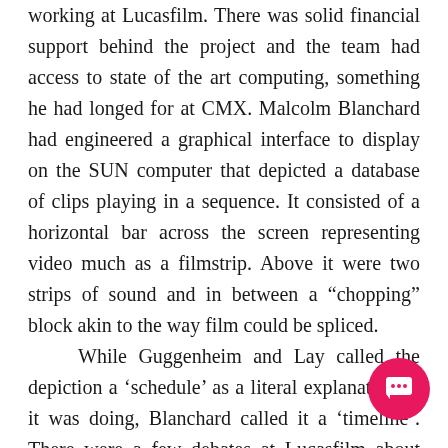working at Lucasfilm. There was solid financial support behind the project and the team had access to state of the art computing, something he had longed for at CMX. Malcolm Blanchard had engineered a graphical interface to display on the SUN computer that depicted a database of clips playing in a sequence. It consisted of a horizontal bar across the screen representing video much as a filmstrip. Above it were two strips of sound and in between a "chopping" block akin to the way film could be spliced. While Guggenheim and Lay called the depiction a 'schedule' as a literal explanation of it was doing, Blanchard called it a ‘timeline’. There were a few debates at Lucasfilm about how the timeline should work as Guggenheim recalls.